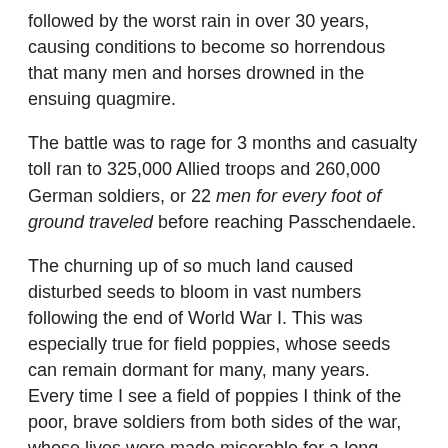followed by the worst rain in over 30 years, causing conditions to become so horrendous that many men and horses drowned in the ensuing quagmire.
The battle was to rage for 3 months and casualty toll ran to 325,000 Allied troops and 260,000 German soldiers, or 22 men for every foot of ground traveled before reaching Passchendaele.
The churning up of so much land caused disturbed seeds to bloom in vast numbers following the end of World War I. This was especially true for field poppies, whose seeds can remain dormant for many, many years. Every time I see a field of poppies I think of the poor, brave soldiers from both sides of the war, whose lives were made miserable for a long period and then cut short, usually in terrifying and horrible ways.